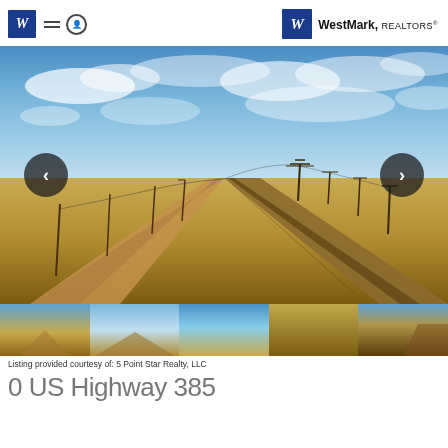WestMark, REALTORS
[Figure (photo): Aerial drone photo of flat open grassland with a dirt road and railway tracks converging toward the horizon, utility poles along the road, blue sky with scattered clouds]
Listing provided courtesy of: 5 Point Star Realty, LLC
0 US Highway 385